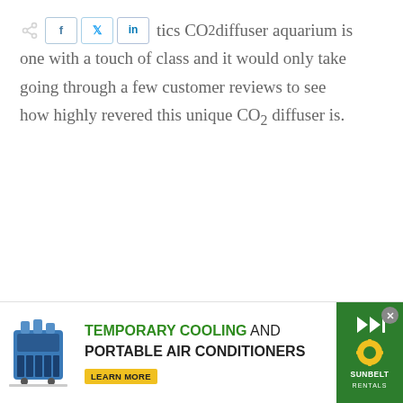tics CO2 diffuser aquarium is one with a touch of class and it would only take going through a few customer reviews to see how highly revered this unique CO2 diffuser is.
[Figure (infographic): Advertisement banner for Sunbelt Rentals featuring temporary cooling and portable air conditioners with an image of blue portable AC units, green headline text, a yellow LEARN MORE button, and Sunbelt Rentals green sidebar logo.]